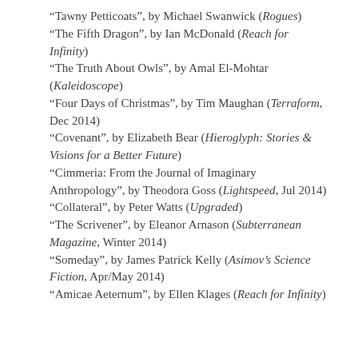“Tawny Petticoats”, by Michael Swanwick (Rogues)
“The Fifth Dragon”, by Ian McDonald (Reach for Infinity)
“The Truth About Owls”, by Amal El-Mohtar (Kaleidoscope)
“Four Days of Christmas”, by Tim Maughan (Terraform, Dec 2014)
“Covenant”, by Elizabeth Bear (Hieroglyph: Stories & Visions for a Better Future)
“Cimmeria: From the Journal of Imaginary Anthropology”, by Theodora Goss (Lightspeed, Jul 2014)
“Collateral”, by Peter Watts (Upgraded)
“The Scrivener”, by Eleanor Arnason (Subterranean Magazine, Winter 2014)
“Someday”, by James Patrick Kelly (Asimov’s Science Fiction, Apr/May 2014)
“Amicae Aeternum”, by Ellen Klages (Reach for Infinity)